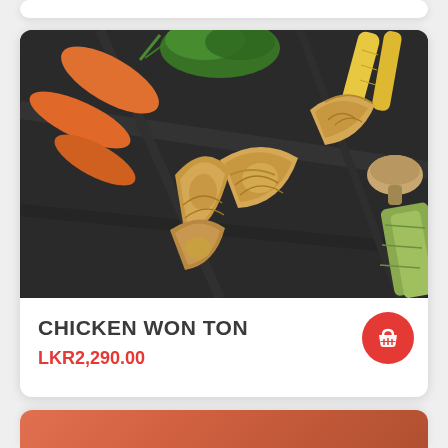[Figure (photo): Photo of Chicken Won Ton dumplings on a dark slate board with carrots, baby corn, mushrooms, and a small bowl of dipping sauce]
CHICKEN WON TON
LKR2,290.00